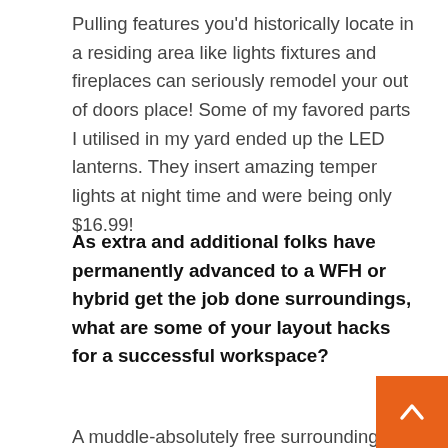Pulling features you'd historically locate in a residing area like lights fixtures and fireplaces can seriously remodel your out of doors place! Some of my favored parts I utilised in my yard ended up the LED lanterns. They insert amazing temper lights at night time and were being only $16.99!
As extra and additional folks have permanently advanced to a WFH or hybrid get the job done surroundings, what are some of your layout hacks for a successful workspace?
A muddle-absolutely free surroundings is crucial to encouraging me continue to be successful when I'm performing from property. I'm obsessed with bask have two boys, so I hold baskets all over my hous retailer games, toys, clothes…you identify it! They are so elegant but also one particular of the most useful